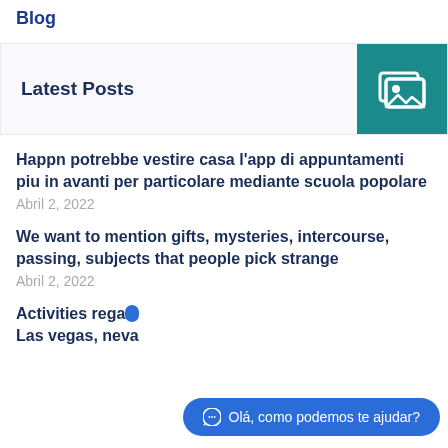Blog
Latest Posts
Happn potrebbe vestire casa l'app di appuntamenti piu in avanti per particolare mediante scuola popolare
Abril 2, 2022
We want to mention gifts, mysteries, intercourse, passing, subjects that people pick strange
Abril 2, 2022
Activities regarding Las vegas, nevada
Olá, como podemos te ajudar?